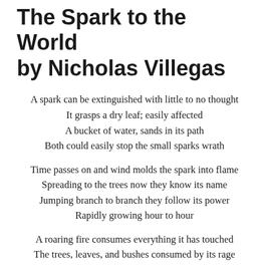The Spark to the World by Nicholas Villegas
A spark can be extinguished with little to no thought
It grasps a dry leaf; easily affected
A bucket of water, sands in its path
Both could easily stop the small sparks wrath
Time passes on and wind molds the spark into flame
Spreading to the trees now they know its name
Jumping branch to branch they follow its power
Rapidly growing hour to hour
A roaring fire consumes everything it has touched
The trees, leaves, and bushes consumed by its rage
The animals they grow weary